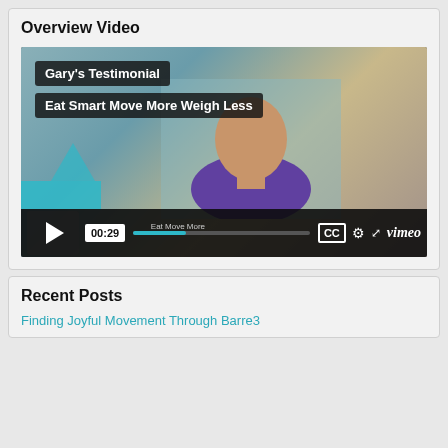Overview Video
[Figure (screenshot): Vimeo video player showing Gary's Testimonial for Eat Smart Move More Weigh Less. The video is paused at 00:29, showing a man in a purple shirt. The player shows standard Vimeo controls including play, timestamp, progress bar, CC, settings, fullscreen, and Vimeo logo.]
Recent Posts
Finding Joyful Movement Through Barre3